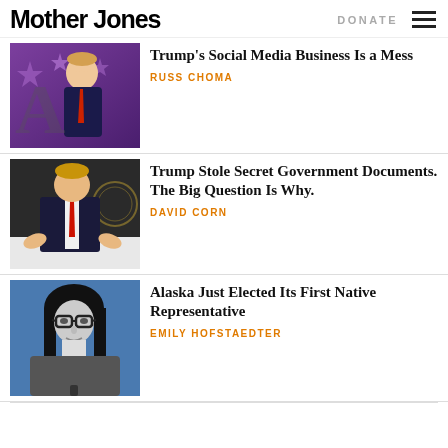Mother Jones | DONATE
Trump's Social Media Business Is a Mess
RUSS CHOMA
[Figure (photo): Photo of Donald Trump at a podium with purple star decorations in background]
Trump Stole Secret Government Documents. The Big Question Is Why.
DAVID CORN
[Figure (photo): Photo of Donald Trump gesturing with hands at a table]
Alaska Just Elected Its First Native Representative
EMILY HOFSTAEDTER
[Figure (photo): Black and white photo of a woman with glasses and long dark hair in front of blue background]